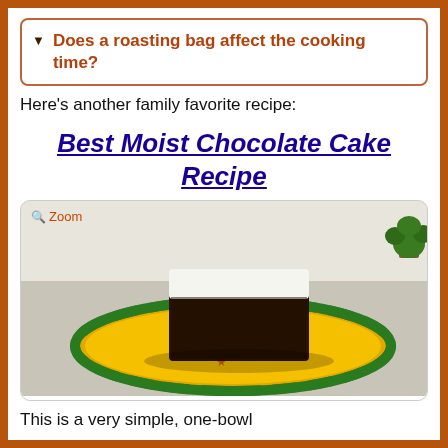Does a roasting bag affect the cooking time?
Here's another family favorite recipe:
Best Moist Chocolate Cake Recipe
[Figure (photo): A slice of chocolate cake with white frosting on a yellow plate with green and white striped rim and star decorations, on a gray countertop. Has a 'Zoom' label overlay in the top-left corner.]
This is a very simple, one-bowl